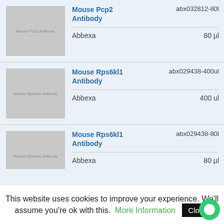| Image | Product Name | ID | Vendor | Volume |
| --- | --- | --- | --- | --- |
| [image] | Mouse Pcp2 Antibody | abx032812-80l | Abbexa | 80 µl |
| [image] | Mouse Rps6kl1 Antibody | abx029438-400ul | Abbexa | 400 ul |
| [image] | Mouse Rps6kl1 Antibody | abx029438-80l | Abbexa | 80 µl |
| [image] | Mouse Shk2 | abx029439-400ul |  |  |
This website uses cookies to improve your experience. We'll assume you're ok with this. More Information Close